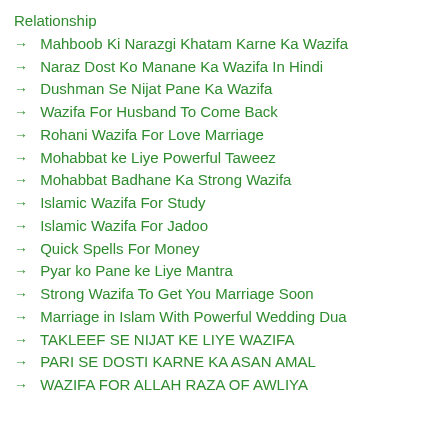Relationship
→ Mahboob Ki Narazgi Khatam Karne Ka Wazifa
→ Naraz Dost Ko Manane Ka Wazifa In Hindi
→ Dushman Se Nijat Pane Ka Wazifa
→ Wazifa For Husband To Come Back
→ Rohani Wazifa For Love Marriage
→ Mohabbat ke Liye Powerful Taweez
→ Mohabbat Badhane Ka Strong Wazifa
→ Islamic Wazifa For Study
→ Islamic Wazifa For Jadoo
→ Quick Spells For Money
→ Pyar ko Pane ke Liye Mantra
→ Strong Wazifa To Get You Marriage Soon
→ Marriage in Islam With Powerful Wedding Dua
→ TAKLEEF SE NIJAT KE LIYE WAZIFA
→ PARI SE DOSTI KARNE KA ASAN AMAL
→ WAZIFA FOR ALLAH RAZA OF AWLIYA